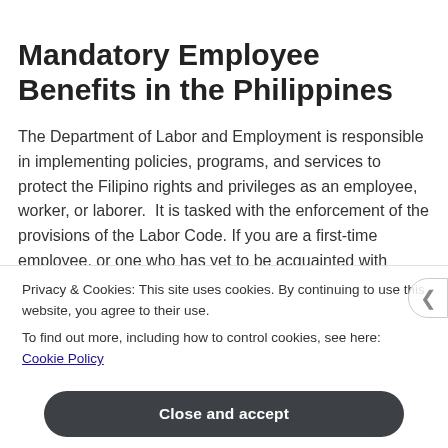Mandatory Employee Benefits in the Philippines
The Department of Labor and Employment is responsible in implementing policies, programs, and services to protect the Filipino rights and privileges as an employee, worker, or laborer.  It is tasked with the enforcement of the provisions of the Labor Code. If you are a first-time employee, or one who has yet to be acquainted with
Privacy & Cookies: This site uses cookies. By continuing to use this website, you agree to their use.
To find out more, including how to control cookies, see here: Cookie Policy
Close and accept